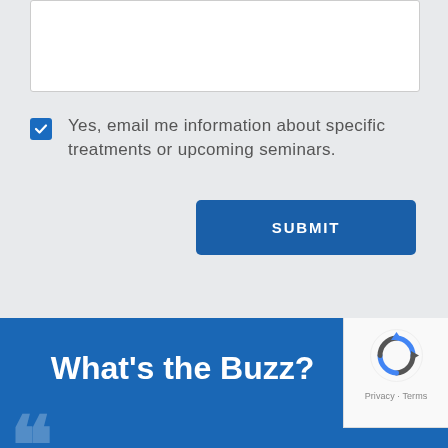[Figure (screenshot): White text input box at top of form]
[Figure (screenshot): Blue checked checkbox]
Yes, email me information about specific treatments or upcoming seminars.
[Figure (screenshot): Blue SUBMIT button]
What's the Buzz?
[Figure (screenshot): reCAPTCHA logo with Privacy · Terms text]